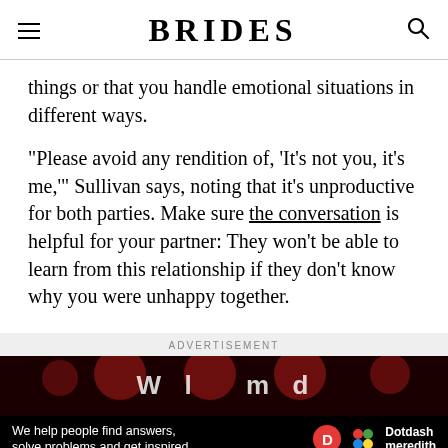BRIDES
things or that you handle emotional situations in different ways.
"Please avoid any rendition of, 'It's not you, it's me,'" Sullivan says, noting that it's unproductive for both parties. Make sure the conversation is helpful for your partner: They won't be able to learn from this relationship if they don't know why you were unhappy together.
ADVERTISEMENT
[Figure (screenshot): Advertisement banner with dark background showing red dots and stylized text, with Dotdash Meredith branding at the bottom. Bottom bar reads: We help people find answers, solve problems and get inspired.]